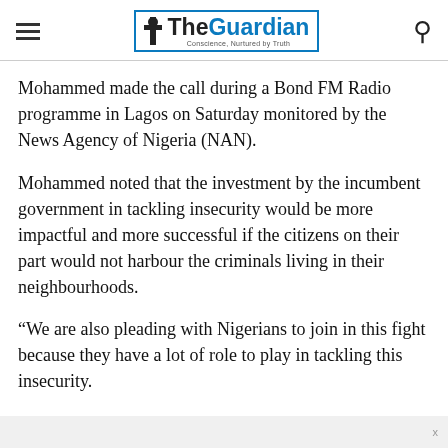The Guardian
Mohammed made the call during a Bond FM Radio programme in Lagos on Saturday monitored by the News Agency of Nigeria (NAN).
Mohammed noted that the investment by the incumbent government in tackling insecurity would be more impactful and more successful if the citizens on their part would not harbour the criminals living in their neighbourhoods.
“We are also pleading with Nigerians to join in this fight because they have a lot of role to play in tackling this insecurity.